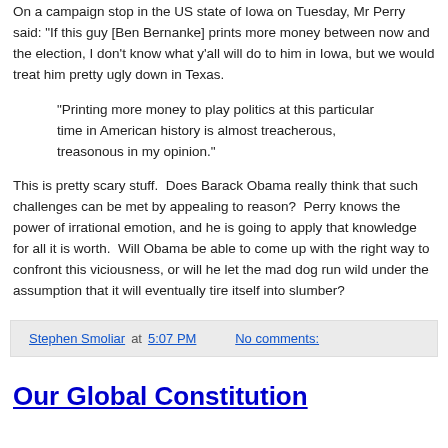On a campaign stop in the US state of Iowa on Tuesday, Mr Perry said: "If this guy [Ben Bernanke] prints more money between now and the election, I don't know what y'all will do to him in Iowa, but we would treat him pretty ugly down in Texas.
"Printing more money to play politics at this particular time in American history is almost treacherous, treasonous in my opinion."
This is pretty scary stuff.  Does Barack Obama really think that such challenges can be met by appealing to reason?  Perry knows the power of irrational emotion, and he is going to apply that knowledge for all it is worth.  Will Obama be able to come up with the right way to confront this viciousness, or will he let the mad dog run wild under the assumption that it will eventually tire itself into slumber?
Stephen Smoliar at 5:07 PM   No comments:
Our Global Constitution